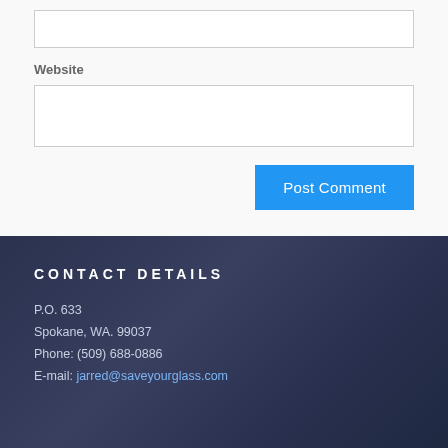(input box - empty)
Website
(input box - empty)
Post Comment
Contact Details
P.O. 633
Spokane, WA. 99037
Phone: (509) 688-0886
E-mail: jarred@saveyourglass.com